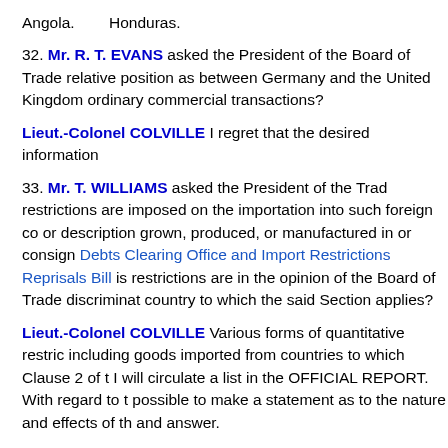Angola.        Honduras.
32. Mr. R. T. EVANS asked the President of the Board of Trade relative position as between Germany and the United Kingdom ordinary commercial transactions?
Lieut.-Colonel COLVILLE I regret that the desired information
33. Mr. T. WILLIAMS asked the President of the Board of Trade restrictions are imposed on the importation into such foreign co or description grown, produced, or manufactured in or consign Debts Clearing Office and Import Restrictions Reprisals Bill is restrictions are in the opinion of the Board of Trade discriminat country to which the said Section applies?
Lieut.-Colonel COLVILLE Various forms of quantitative restric including goods imported from countries to which Clause 2 of t I will circulate a list in the OFFICIAL REPORT. With regard to t possible to make a statement as to the nature and effects of th and answer.